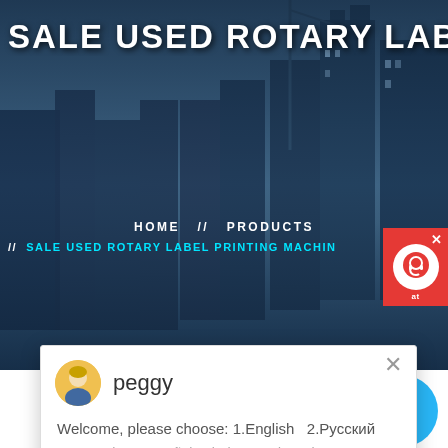SALE USED ROTARY LABEL PRIN
HOME // PRODUCTS // SALE USED ROTARY LABEL PRINTING MACHIN
[Figure (screenshot): Chat popup with agent named 'peggy', message: Welcome, please choose: 1.English  2.Русский 3.Francais  4.Español  5.bahasa Indonesia  6...]
Latest Projects
[Figure (photo): Industrial machinery/construction site photo]